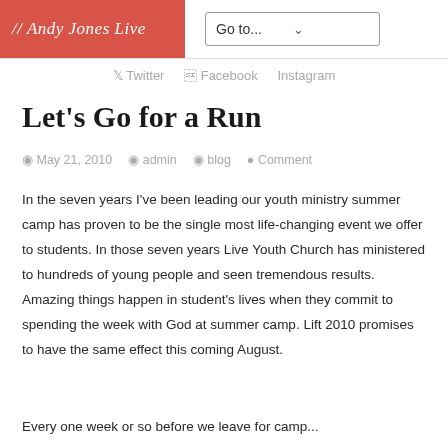// Andy Jones Live
Go to...
Twitter   Facebook   Instagram
Let's Go for a Run
May 21, 2010   admin   blog   Comment
In the seven years I've been leading our youth ministry summer camp has proven to be the single most life-changing event we offer to students. In those seven years Live Youth Church has ministered to hundreds of young people and seen tremendous results. Amazing things happen in student's lives when they commit to spending the week with God at summer camp. Lift 2010 promises to have the same effect this coming August.
Every one week or so before we leave for camp...